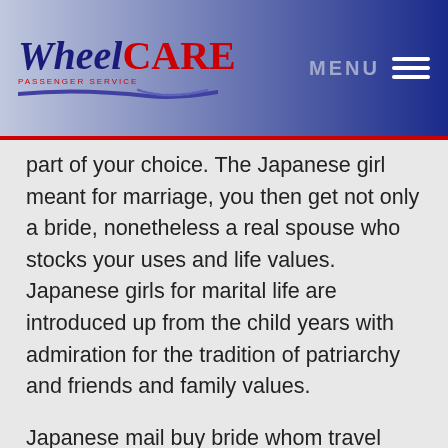WheelCARE PASSENGER SERVICE | MENU
part of your choice. The Japanese girl meant for marriage, you then get not only a bride, nonetheless a real spouse who stocks your uses and life values. Japanese girls for marital life are introduced up from the child years with admiration for the tradition of patriarchy and friends and family values.
Japanese mail buy bride whom travel international have better conversational expertise. Japanese birdes-to-be communicate without difficulty on-line upon relationship websites, they can just video talk with Western men. So, there are tons of completely different